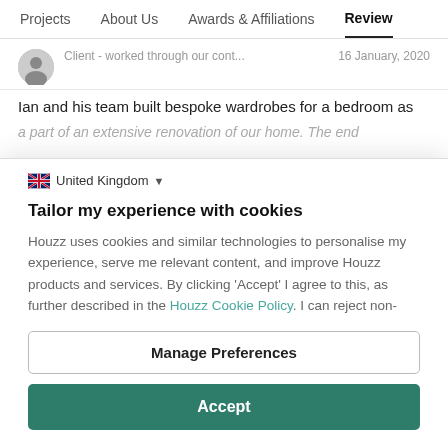Projects  About Us  Awards & Affiliations  Reviews
Client - worked through our cont...   16 January, 2020
Ian and his team built bespoke wardrobes for a bedroom as a part of an extensive renovation of our home. The end
🇬🇧 United Kingdom ▾
Tailor my experience with cookies
Houzz uses cookies and similar technologies to personalise my experience, serve me relevant content, and improve Houzz products and services. By clicking 'Accept' I agree to this, as further described in the Houzz Cookie Policy. I can reject non-
Manage Preferences
Accept